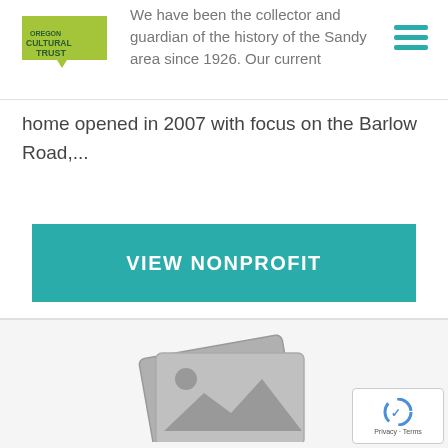Oregon Cultural Trust logo and hamburger menu
We have been the collector and guardian of the history of the Sandy area since 1926. Our current home opened in 2007 with focus on the Barlow Road,...
VIEW NONPROFIT
[Figure (illustration): Placeholder image icon showing stacked photo cards with a mountain landscape and sun silhouette in grey]